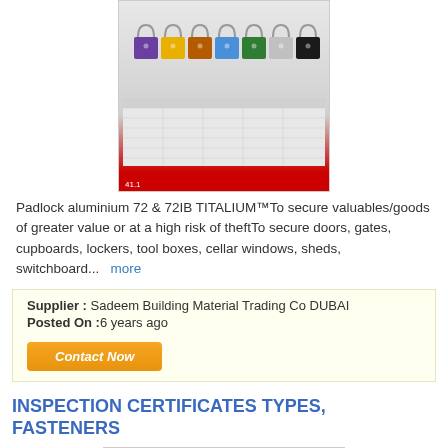[Figure (photo): Photograph/product image of aluminum padlocks in multiple colors (purple, yellow, brown, blue, green, silver, black) with shackles, displayed above a product data table with a red bottom bar marked '41.1']
Padlock aluminium 72 & 72IB TITALIUM™To secure valuables/goods of greater value or at a high risk of theftTo secure doors, gates, cupboards, lockers, tool boxes, cellar windows, sheds, switchboard...   more
Supplier : Sadeem Building Material Trading Co DUBAI
Posted On :6 years ago
[Contact Now button]
INSPECTION CERTIFICATES TYPES, FASTENERS
[Figure (screenshot): Screenshot of a document titled 'BSEN 10204 test certificates for stainless steel products' with introduction text and a table of certificate types (2.1, 2.2, etc.) with columns: Certificate type, Title, Status, Summary certificate requirements, Tested by]